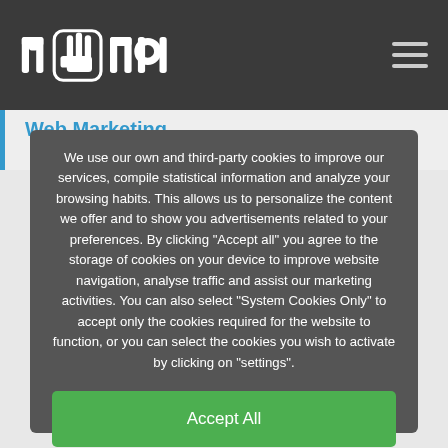mano (logo with hand icon)
Web Marketing
We use our own and third-party cookies to improve our services, compile statistical information and analyze your browsing habits. This allows us to personalize the content we offer and to show you advertisements related to your preferences. By clicking "Accept all" you agree to the storage of cookies on your device to improve website navigation, analyse traffic and assist our marketing activities. You can also select "System Cookies Only" to accept only the cookies required for the website to function, or you can select the cookies you wish to activate by clicking on "settings".
Accept All
Only sistem cookies
Configuration